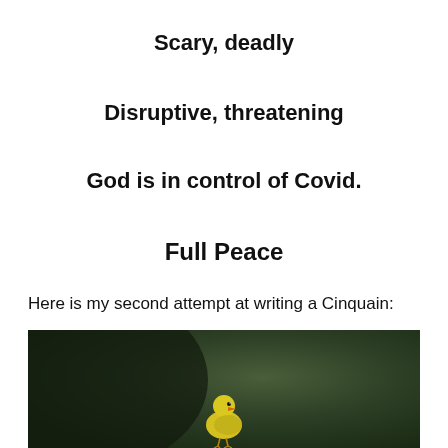Scary, deadly
Disruptive, threatening
God is in control of Covid.
Full Peace
Here is my second attempt at writing a Cinquain:
[Figure (photo): A small yellow bird (canary or finch) perched, photographed against a dark green blurred background.]